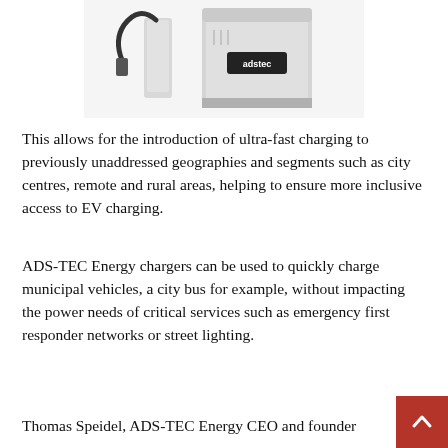[Figure (photo): Photo of ADS-TEC Energy EV charging equipment: a charging post with cable on the left and a large cabinet unit with 'adstec' logo on the right, both in white/grey finish.]
This allows for the introduction of ultra-fast charging to previously unaddressed geographies and segments such as city centres, remote and rural areas, helping to ensure more inclusive access to EV charging.
ADS-TEC Energy chargers can be used to quickly charge municipal vehicles, a city bus for example, without impacting the power needs of critical services such as emergency first responder networks or street lighting.
Thomas Speidel, ADS-TEC Energy CEO and founder